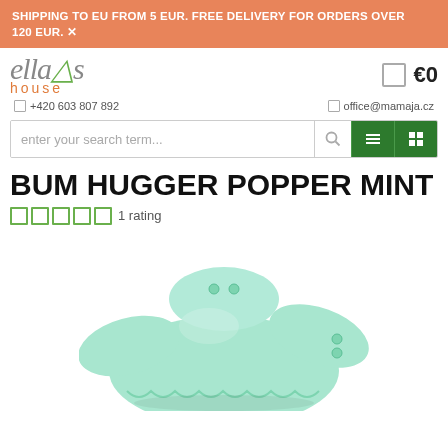SHIPPING TO EU FROM 5 EUR. FREE DELIVERY FOR ORDERS OVER 120 EUR.
[Figure (logo): Ella's House logo with orange house text and green leaf accent]
€0
+420 603 807 892
office@mamaja.cz
enter your search term...
BUM HUGGER POPPER MINT
1 rating
[Figure (photo): Mint green cloth diaper (Bum Hugger Popper) shown folded/stuffed, photographed on white background]